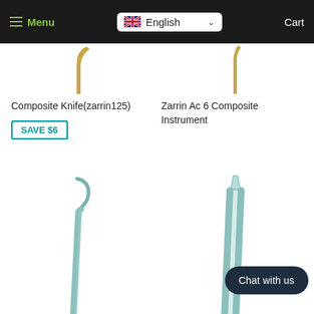Menu | English | Cart
[Figure (photo): Partial view of composite knife dental instrument (zarrin125) with gold-colored tip, cropped at top]
[Figure (photo): Partial view of Zarrin Ac 6 Composite Instrument with gold-colored tip, cropped at top]
Composite Knife(zarrin125)
SAVE $6
Zarrin Ac 6 Composite Instrument
[Figure (photo): Dental composite instrument with curved stainless steel tip and handle, angled view]
[Figure (photo): Dental composite instrument with straight stainless steel tip and handle, with Chat with us button overlay]
Chat with us